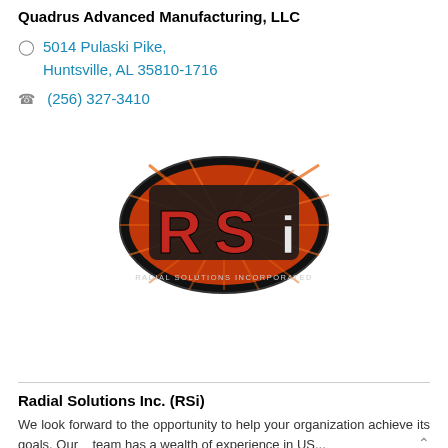Quadrus Advanced Manufacturing, LLC
5014 Pulaski Pike, Huntsville, AL 35810-1716
(256) 327-3410
[Figure (logo): RSi Radial Solutions Incorporated oval logo with red and black background]
Radial Solutions Inc. (RSi)
We look forward to the opportunity to help your organization achieve its goals. Our team has a wealth of experience in US...
4835 University Square, Suite 15,